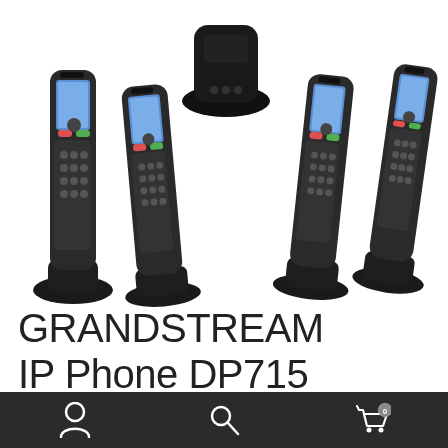[Figure (photo): Product photo of Grandstream DP715 IP DECT cordless phones — multiple handsets with charging bases arranged in a group, shown in black/dark grey color with blue LCD screens visible.]
GRANDSTREAM IP Phone DP715
Navigation bar with user icon, search icon, and shopping cart icon (0 items)